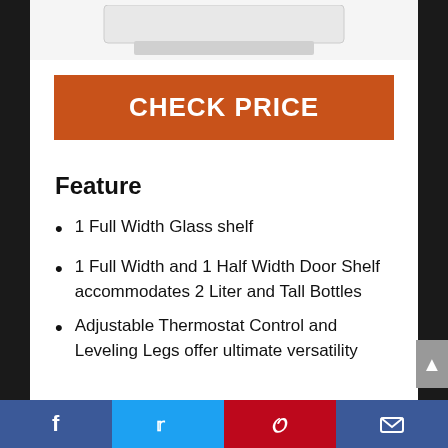[Figure (photo): Partial view of a white refrigerator/mini fridge product, bottom portion visible against white background]
CHECK PRICE
Feature
1 Full Width Glass shelf
1 Full Width and 1 Half Width Door Shelf accommodates 2 Liter and Tall Bottles
Adjustable Thermostat Control and Leveling Legs offer ultimate versatility
[Figure (infographic): Social media sharing bar with Facebook, Twitter, Pinterest, and email icons]